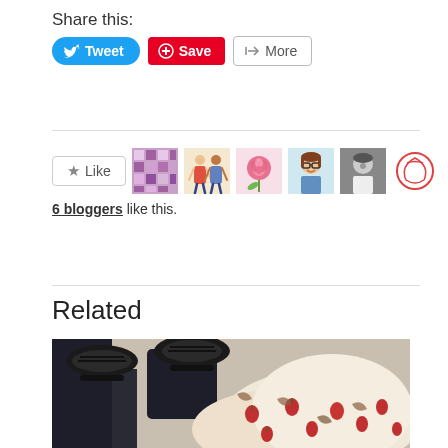Share this:
Tweet | Save | More
6 bloggers like this.
Related
[Figure (photo): Photo of a person's feet wearing black Mary Jane shoes with ankle straps, sitting on a light concrete surface, with a floral-patterned dress (cream with red strawberries and brown patterns) visible in the lap area, and dark jeans/leggings on the legs.]